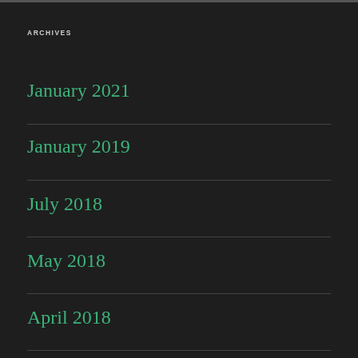ARCHIVES
January 2021
January 2019
July 2018
May 2018
April 2018